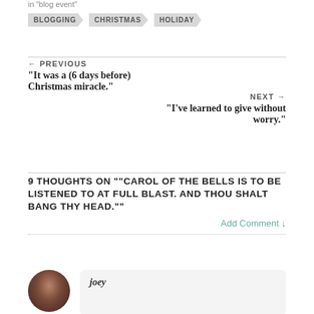in "blog event"
BLOGGING
CHRISTMAS
HOLIDAY
← PREVIOUS
"It was a (6 days before) Christmas miracle."
NEXT →
"I've learned to give without worry."
9 THOUGHTS ON ""CAROL OF THE BELLS IS TO BE LISTENED TO AT FULL BLAST. AND THOU SHALT BANG THY HEAD.""
Add Comment ↓
joey